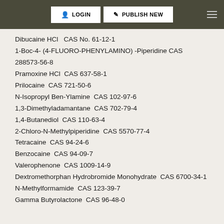LOGIN | PUBLISH NEW
Dibucaine HCl   CAS No. 61-12-1
1-Boc-4- (4-FLUORO-PHENYLAMINO) -Piperidine CAS 288573-56-8
Pramoxine HCl  CAS 637-58-1
Prilocaine  CAS 721-50-6
N-Isopropyl Ben-Ylamine  CAS 102-97-6
1,3-Dimethyladamantane  CAS 702-79-4
1,4-Butanediol  CAS 110-63-4
2-Chloro-N-Methylpiperidine  CAS 5570-77-4
Tetracaine  CAS 94-24-6
Benzocaine  CAS 94-09-7
Valerophenone  CAS 1009-14-9
Dextromethorphan Hydrobromide Monohydrate  CAS 6700-34-1
N-Methylformamide  CAS 123-39-7
Gamma Butyrolactone  CAS 96-48-0
Packaging & delivery